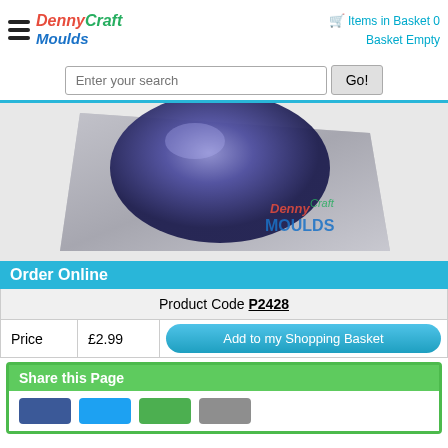Denny Craft Moulds — Items in Basket 0 Basket Empty
[Figure (screenshot): Search bar with 'Enter your search' placeholder text and 'Go!' button]
[Figure (photo): Product photo showing a dark blue/purple resin sphere cast on a silver metallic surface, with Denny Craft Moulds watermark logo]
Order Online
| Product Code P2428 |
| Price | £2.99 | Add to my Shopping Basket |
Share this Page